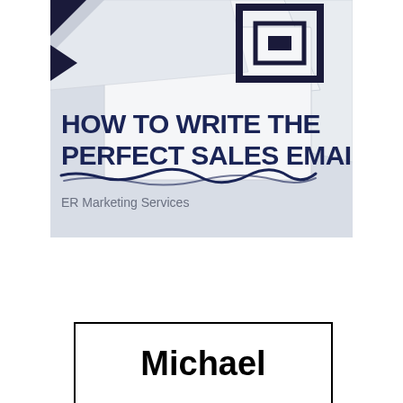[Figure (illustration): Book cover image showing white envelopes/papers with dark geometric stamp marks, with text 'HOW TO WRITE THE PERFECT SALES EMAIL' in dark navy bold font, a hand-drawn underline scribble, and 'ER Marketing Services' in lighter text below, all on a light blue-grey background.]
Michael